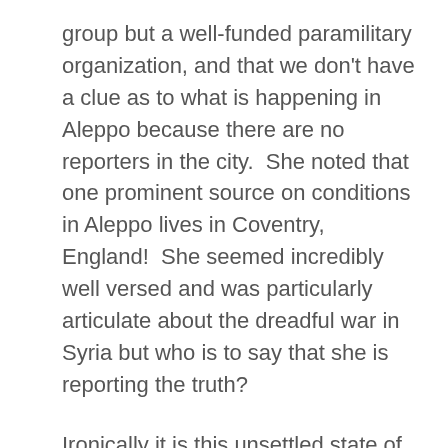group but a well-funded paramilitary organization, and that we don't have a clue as to what is happening in Aleppo because there are no reporters in the city.  She noted that one prominent source on conditions in Aleppo lives in Coventry, England!  She seemed incredibly well versed and was particularly articulate about the dreadful war in Syria but who is to say that she is reporting the truth?

Ironically it is this unsettled state of mind that turns many people to religion but it seems our various cultures have plenty of faith in various gods...we simply have no